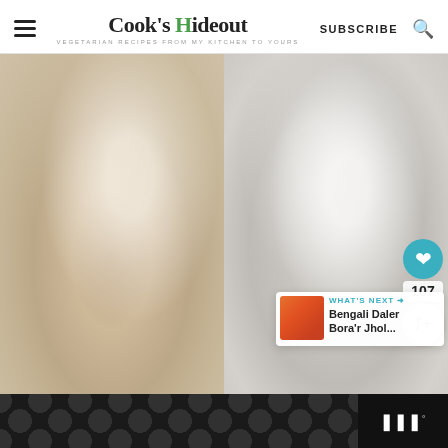Cook's Hideout – VEGETARIAN RECIPES FROM MY KITCHEN TO YOURS | SUBSCRIBE
[Figure (photo): Two side-by-side close-up photos of a batter or dough mixture in bowls. The left image shows a tan/beige liquid batter with bubbles and a glossy surface. The right image shows a thicker, whiter, more aerated batter with a fluffy texture. A teal heart button with '107' like count and a share button overlay the right side. A 'WHAT'S NEXT' card shows 'Bengali Daler Bora'r Jhol...' with a thumbnail.]
What's Next → Bengali Daler Bora'r Jhol...